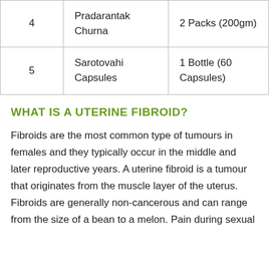| 4 | Pradarantak Churna | 2 Packs (200gm) |
| 5 | Sarotovahi Capsules | 1 Bottle (60 Capsules) |
WHAT IS A UTERINE FIBROID?
Fibroids are the most common type of tumours in females and they typically occur in the middle and later reproductive years. A uterine fibroid is a tumour that originates from the muscle layer of the uterus. Fibroids are generally non-cancerous and can range from the size of a bean to a melon. Pain during sexual